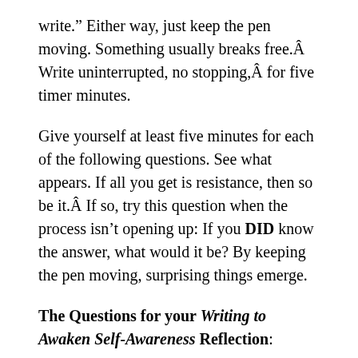write.” Either way, just keep the pen moving. Something usually breaks free.Â Write uninterrupted, no stopping,Â for five timer minutes.
Give yourself at least five minutes for each of the following questions. See what appears. If all you get is resistance, then so be it.Â If so, try this question when the process isn’t opening up: If you DID know the answer, what would it be? By keeping the pen moving, surprising things emerge.
The Questions for your Writing to Awaken Self-Awareness Reflection: